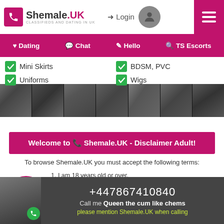Shemale.UK - Classifieds and Dating in UK | Login
Dating  Chat  Hello  TS Escorts
✓ Mini Skirts
✓ Uniforms
✓ BDSM, PVC
✓ Wigs
[Figure (photo): Strip of adult profile thumbnail photos]
Welcome to 📞 Shemale.UK - Disclaimer Adult!
To browse Shemale.UK you must accept the following terms:
1. I am 18 years old or over.
2. I understand there will be explicit content in this "Adult website".
3. By clicking on "I accept" below, I discharge all Internet providers, owners and founders of Shemale.uk of any responsibility regarding
+447867410840 Call me Queen the cum like chems please mention Shemale.UK when calling